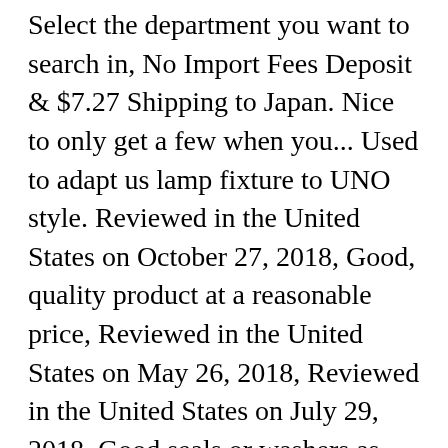Select the department you want to search in, No Import Fees Deposit & $7.27 Shipping to Japan. Nice to only get a few when you... Used to adapt us lamp fixture to UNO style. Reviewed in the United States on October 27, 2018, Good, quality product at a reasonable price, Reviewed in the United States on May 26, 2018, Reviewed in the United States on July 29, 2018, Good seals or washers as sometimes called, Reviewed in the United States on May 10, 2017. There was a problem completing your request. $2.96. White Plastic Flanged Strainer Sink Drain Tailpiece Extension Tube, 1-1/4 in. Everbilt Form N Fit 1-1/4 in. Plastic Sink Drain Pop-Up Drain Assembly in Chrome Finish, 1-1/2 in. Please try your search again later.